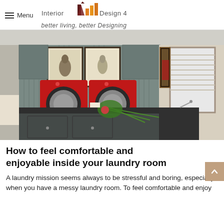Menu | Interior Design 4 — better living, better Designing
[Figure (photo): Stylish laundry room with two red front-loading washing machines, grey beadboard cabinets, bird artwork on walls, dark granite island countertop with flowers, and a window with blinds.]
How to feel comfortable and enjoyable inside your laundry room
A laundry mission seems always to be stressful and boring, especially when you have a messy laundry room. To feel comfortable and enjoy